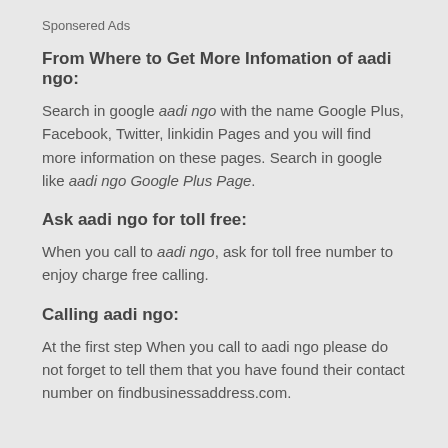Sponsered Ads
From Where to Get More Infomation of aadi ngo:
Search in google aadi ngo with the name Google Plus, Facebook, Twitter, linkidin Pages and you will find more information on these pages. Search in google like aadi ngo Google Plus Page.
Ask aadi ngo for toll free:
When you call to aadi ngo, ask for toll free number to enjoy charge free calling.
Calling aadi ngo:
At the first step When you call to aadi ngo please do not forget to tell them that you have found their contact number on findbusinessaddress.com.